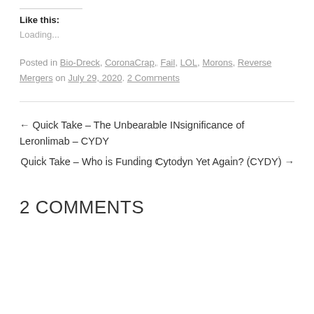Like this:
Loading...
Posted in Bio-Dreck, CoronaCrap, Fail, LOL, Morons, Reverse Mergers on July 29, 2020. 2 Comments
← Quick Take – The Unbearable INsignificance of Leronlimab – CYDY
Quick Take – Who is Funding Cytodyn Yet Again? (CYDY) →
2 COMMENTS